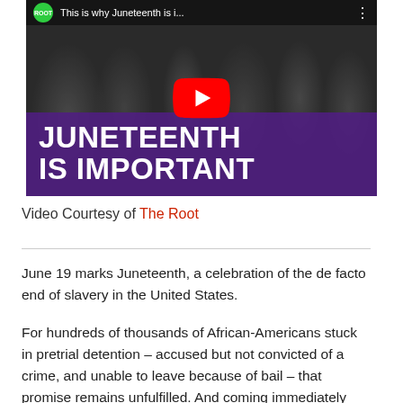[Figure (screenshot): YouTube video thumbnail showing a black-and-white historical photo of African-American musicians, with a purple band overlay reading 'JUNETEENTH IS IMPORTANT' and a YouTube play button. The video title bar reads 'ROOT This is why Juneteenth is i...']
Video Courtesy of The Root
June 19 marks Juneteenth, a celebration of the de facto end of slavery in the United States.
For hundreds of thousands of African-Americans stuck in pretrial detention – accused but not convicted of a crime, and unable to leave because of bail – that promise remains unfulfilled. And coming immediately before Father's Day, it's also a reminder